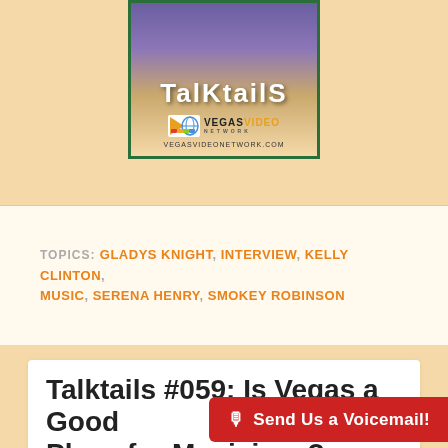[Figure (logo): TalkTails logo with Vegas Video Network branding, purple/blue gradient background with chairs silhouette]
TOPICS: GLADYS KNIGHT, INTERVIEW, KELLY CLINTON, MUSIC, SERENA HENRY, SMOKEY ROBINSON
Talktails #059: Is Vegas a Good Place for Musicians?
SHOW - TALKTAILS [V] — NO C...
🎙 Send Us a Voicemail!